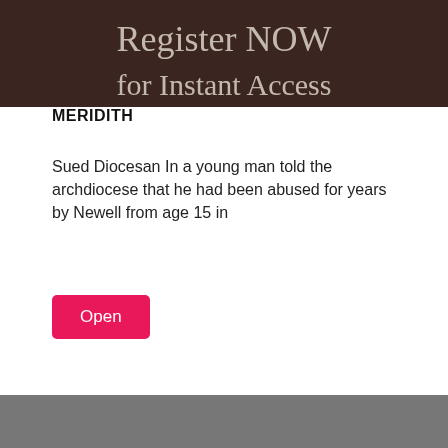[Figure (photo): Dark background image with text 'Register NOW for Instant Access' overlaid in light/white serif font]
MERIDITH
Sued Diocesan In a young man told the archdiocese that he had been abused for years by Newell from age 15 in
Open
[Figure (photo): Gray/dark photograph, partially visible at bottom of page]